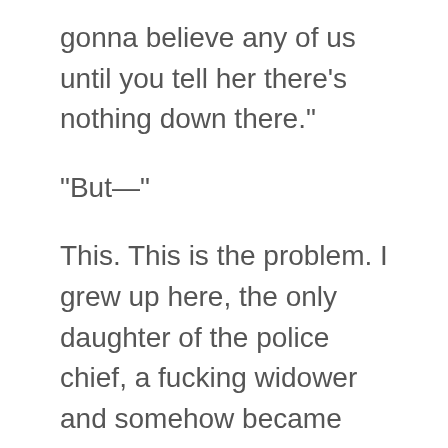gonna believe any of us until you tell her there’s nothing down there.”
“But—”
This. This is the problem. I grew up here, the only daughter of the police chief, a fucking widower and somehow became the town mascot. Even when I want to be taken serious, it’s like all anyone sees is the knobby kneed, ratty haired fourteen year old